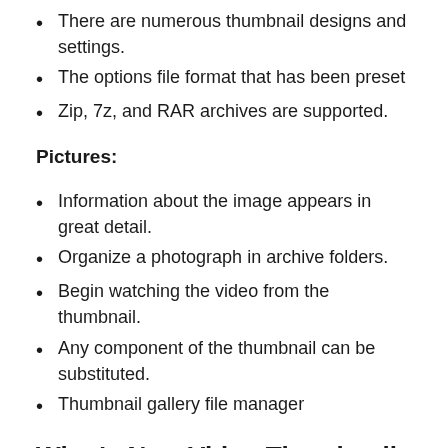There are numerous thumbnail designs and settings.
The options file format that has been preset
Zip, 7z, and RAR archives are supported.
Pictures:
Information about the image appears in great detail.
Organize a photograph in archive folders.
Begin watching the video from the thumbnail.
Any component of the thumbnail can be substituted.
Thumbnail gallery file manager
What's New Video Thumbnails